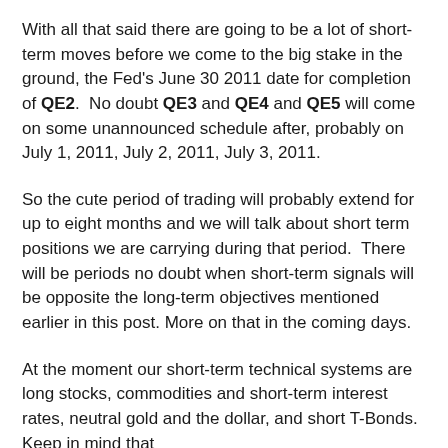With all that said there are going to be a lot of short-term moves before we come to the big stake in the ground, the Fed's June 30 2011 date for completion of QE2.  No doubt QE3 and QE4 and QE5 will come on some unannounced schedule after, probably on July 1, 2011, July 2, 2011, July 3, 2011.
So the cute period of trading will probably extend for up to eight months and we will talk about short term positions we are carrying during that period.  There will be periods no doubt when short-term signals will be opposite the long-term objectives mentioned earlier in this post. More on that in the coming days.
At the moment our short-term technical systems are long stocks, commodities and short-term interest rates, neutral gold and the dollar, and short T-Bonds.  Keep in mind that